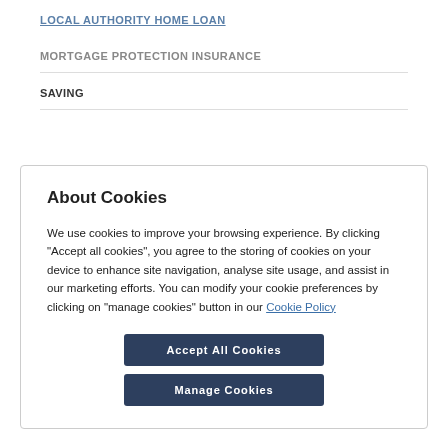LOCAL AUTHORITY HOME LOAN
MORTGAGE PROTECTION INSURANCE
SAVING
About Cookies
We use cookies to improve your browsing experience. By clicking “Accept all cookies”, you agree to the storing of cookies on your device to enhance site navigation, analyse site usage, and assist in our marketing efforts. You can modify your cookie preferences by clicking on "manage cookies" button in our Cookie Policy
Accept All Cookies
Manage Cookies